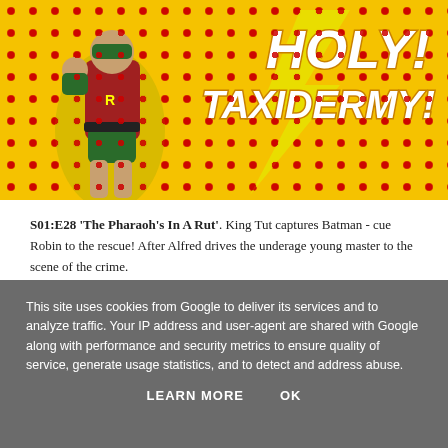[Figure (illustration): Comic-book style image with yellow background covered in red polka dots. A Robin (Batman sidekick) action figure/figurine is shown in the left portion. Bold white italic text on the right reads 'HOLY TAXIDERMY!' with a lightning bolt graphic.]
S01:E28 'The Pharaoh's In A Rut'. King Tut captures Batman - cue Robin to the rescue! After Alfred drives the underage young master to the scene of the crime.
This site uses cookies from Google to deliver its services and to analyze traffic. Your IP address and user-agent are shared with Google along with performance and security metrics to ensure quality of service, generate usage statistics, and to detect and address abuse.
LEARN MORE   OK